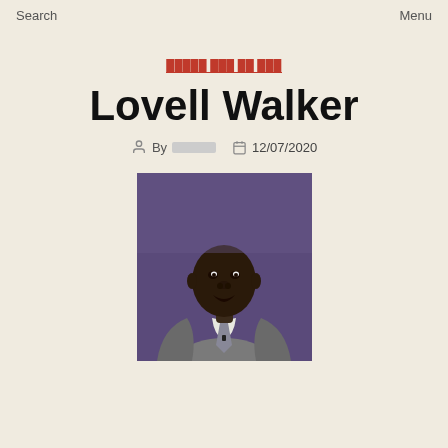Search   Menu
██████ ███ ██ ███
Lovell Walker
By ████  12/07/2020
[Figure (photo): Portrait photo of Lovell Walker, a man in a grey suit with a tie, photographed at what appears to be a conference or event, against a purple/blue background.]